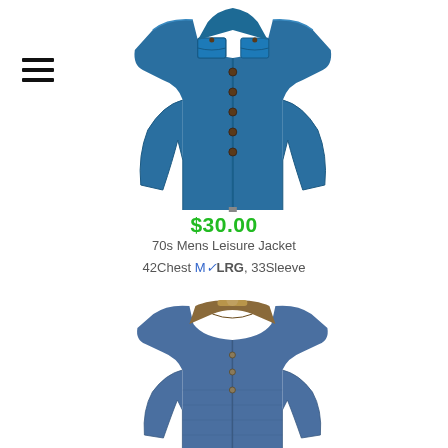[Figure (photo): Blue 70s mens leisure jacket on a mannequin, viewed from the front, with two chest pockets and button front]
$30.00
70s Mens Leisure Jacket
42Chest M✓LRG, 33Sleeve
[Figure (photo): Denim jacket with brown leather collar on a mannequin, viewed from the front]